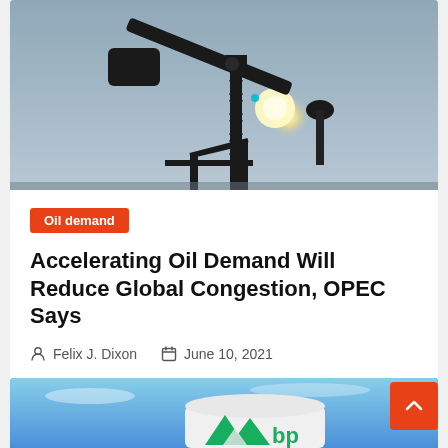[Figure (photo): Oil pump jack silhouette against a bright sun and hazy sky background]
Oil demand
Accelerating Oil Demand Will Reduce Global Congestion, OPEC Says
Felix J. Dixon   June 10, 2021
[Figure (photo): Partial view of a BP logo on a white cylindrical tank against a blue sky]